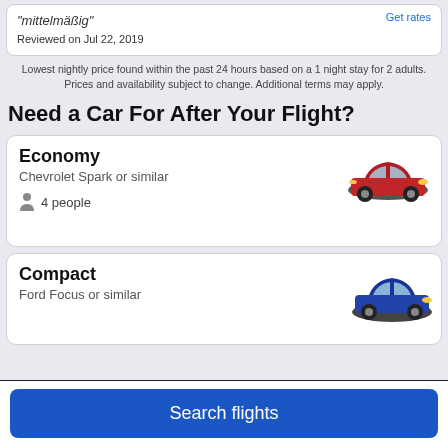mittelmäßig
Reviewed on Jul 22, 2019
Get rates
Lowest nightly price found within the past 24 hours based on a 1 night stay for 2 adults. Prices and availability subject to change. Additional terms may apply.
Need a Car For After Your Flight?
Economy
Chevrolet Spark or similar
4 people
[Figure (photo): Red Chevrolet Spark compact car, front three-quarter view]
Compact
Ford Focus or similar
[Figure (photo): Blue Ford Focus compact car, partially visible]
Search flights